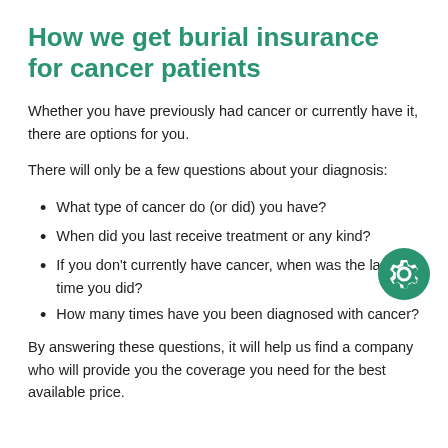How we get burial insurance for cancer patients
Whether you have previously had cancer or currently have it, there are options for you.
There will only be a few questions about your diagnosis:
What type of cancer do (or did) you have?
When did you last receive treatment or any kind?
If you don't currently have cancer, when was the last time you did?
How many times have you been diagnosed with cancer?
By answering these questions, it will help us find a company who will provide you the coverage you need for the best available price.